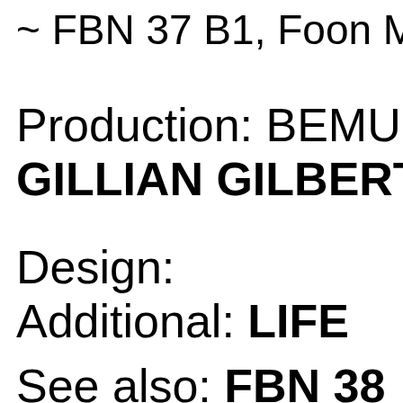~ FBN 37 B1, Foon M
Production: BEMUSI
GILLIAN GILBERT)
Design:
Additional: LIFE
See also: FBN 38